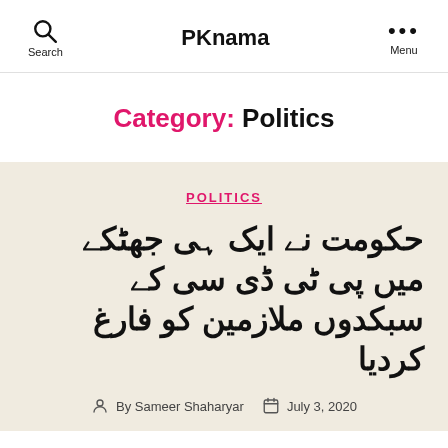PKnama
Category: Politics
POLITICS
حکومت نے ایک ہی جھٹکے میں پی ٹی ڈی سی کے سبکدوں ملازمین کو فارغ کردیا
By Sameer Shaharyar  July 3, 2020